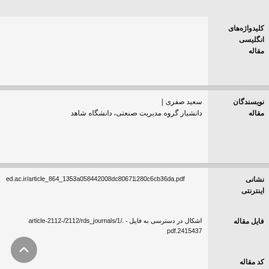کلیدواژه‌های انگلیسی مقاله
نویسندگان مقاله
سعید صفری | دانشیار گروه مدیریت صنعتی، دانشگاه شاهد
نشانی اینترنتی
ed.ac.ir/article_864_1353a058442008dc80671280c6cb36da.pdf
فایل مقاله
اشکال در دسترسی به فایل - ./article-2112-/2112/rds_journals/1 2415437.pdf
کد مقاله (doi)